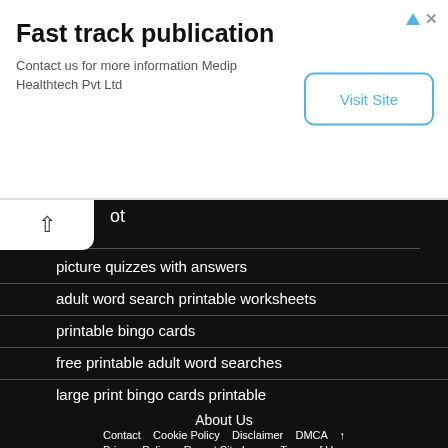[Figure (infographic): Advertisement banner for 'Fast track publication' by Medip Healthtech Pvt Ltd with a 'Visit Site' button]
ot
picture quizzes with answers
adult word search printable worksheets
printable bingo cards
free printable adult word searches
large print bingo cards printable
About Us
Best Free Printable Downloads Sites For Every Kind of Printable
Contact   Cookie Policy   Disclaimer   DMCA   ↑   Privacy Policy   Report Site Issue   Terms of Use